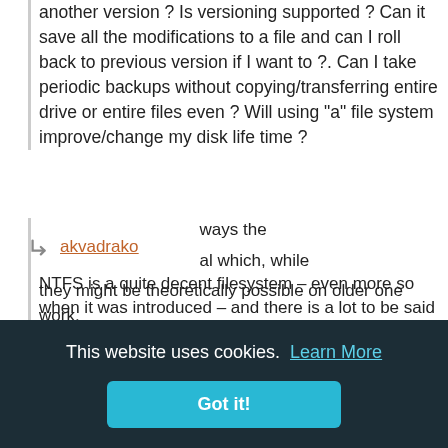another version ? Is versioning supported ? Can it save all the modifications to a file and can I roll back to previous version if I want to ?. Can I take periodic backups without copying/transferring entire drive or entire files even ? Will using "a" file system improve/change my disk life time ?
akvadrako
NTFS is a quite decent filesystem – even more so when it was introduced – and there is a lot to be said for having a one standard.
But would you really want to work with FAT or even exFAT as your main OS? It's about 20% slower and doesn't support ACLs or journaling, so you can lose data in a crash.
So filesystems matter and Linux still doesn't have a ... OSes had 5 ... always the ... al which, while they might be theoretically possible on older one work,
This website uses cookies. Learn More
Got it!